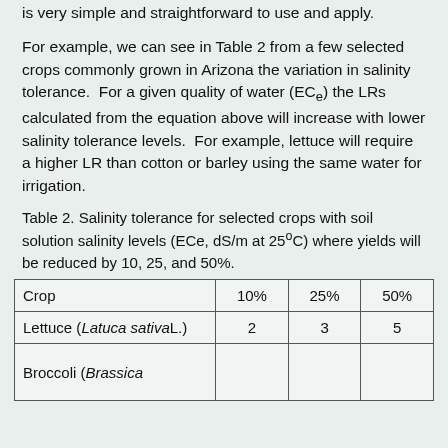is very simple and straightforward to use and apply.
For example, we can see in Table 2 from a few selected crops commonly grown in Arizona the variation in salinity tolerance. For a given quality of water (ECe) the LRs calculated from the equation above will increase with lower salinity tolerance levels. For example, lettuce will require a higher LR than cotton or barley using the same water for irrigation.
Table 2. Salinity tolerance for selected crops with soil solution salinity levels (ECe, dS/m at 25°C) where yields will be reduced by 10, 25, and 50%.
| Crop | 10% | 25% | 50% |
| --- | --- | --- | --- |
| Lettuce (Latuca sativaL.) | 2 | 3 | 5 |
| Broccoli (Brassica |  |  |  |